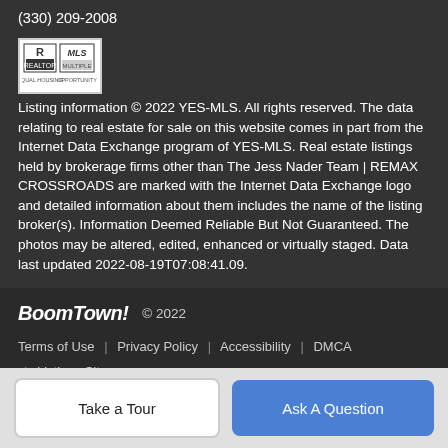(330) 209-2008
Listing information © 2022 YES-MLS. All rights reserved. The data relating to real estate for sale on this website comes in part from the Internet Data Exchange program of YES-MLS. Real estate listings held by brokerage firms other than The Jess Nader Team | REMAX CROSSROADS are marked with the Internet Data Exchange logo and detailed information about them includes the name of the listing broker(s). Information Deemed Reliable But Not Guaranteed. The photos may be altered, edited, enhanced or virtually staged. Data last updated 2022-08-19T07:08:41.09.
BoomTown! © 2022
Terms of Use | Privacy Policy | Accessibility | DMCA | Listings Sitemap
Take a Tour
Ask A Question